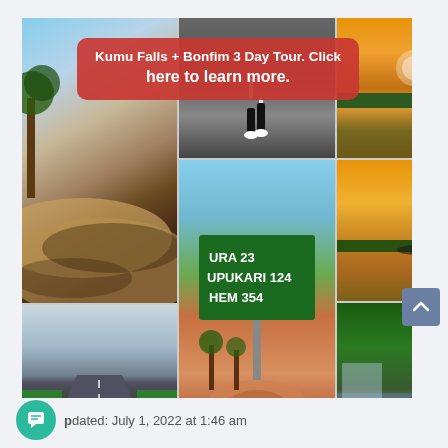[Figure (photo): A collage of 6 travel photos showing: sandy road with shadows, a runner on a dark road, a golden sunset over a lake/river, a green road sign showing distances (URA 23, UPUKARI 124, HEM 354) with a roundabout scene below it, a straight road through flat landscape, and a woman standing by a rocky waterfall giving a peace sign. A red rounded banner overlay reads 'Kumu Falls + Bonfim 3 Day Tour. Click here to learn more.']
Updated: July 1, 2022 at 1:46 am